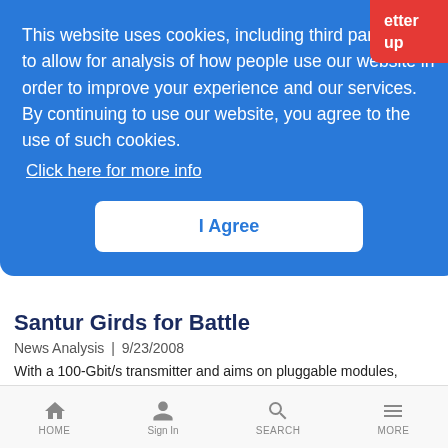[Figure (screenshot): Cookie consent banner overlay with blue background, text about website cookies, a 'Click here for more info' link, and an 'I Agree' button]
This website uses cookies, including third party ones, to allow for analysis of how people use our website in order to improve your experience and our services. By continuing to use our website, you agree to the use of such cookies.
Click here for more info
I Agree
Santur Girds for Battle
News Analysis | 9/23/2008
With a 100-Gbit/s transmitter and aims on pluggable modules, Santur tries to fend off the tunable-laser competition
Verizon Opines on Grounding Gripes
HOME  Sign In  SEARCH  MORE